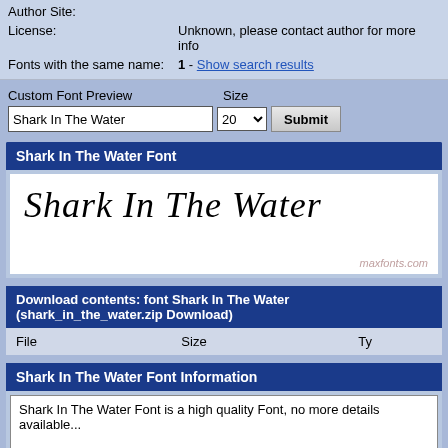| Field | Value |
| --- | --- |
| Author Site: |  |
| License: | Unknown, please contact author for more info |
| Fonts with the same name: | 1 - Show search results |
Custom Font Preview
Size
Shark In The Water [input field]
20 [dropdown]
Submit
Shark In The Water Font
[Figure (other): Font preview showing 'Shark In The Water' in the Shark In The Water handwritten font style, with watermark maxfonts.com]
Download contents: font Shark In The Water (shark_in_the_water.zip Download)
| File | Size | Ty |
| --- | --- | --- |
Shark In The Water Font Information
Shark In The Water Font is a high quality Font, no more details available...